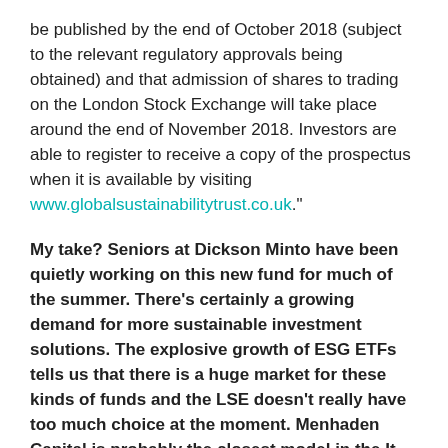be published by the end of October 2018 (subject to the relevant regulatory approvals being obtained) and that admission of shares to trading on the London Stock Exchange will take place around the end of November 2018. Investors are able to register to receive a copy of the prospectus when it is available by visiting www.globalsustainabilitytrust.co.uk.
My take? Seniors at Dickson Minto have been quietly working on this new fund for much of the summer. There's certainly a growing demand for more sustainable investment solutions. The explosive growth of ESG ETFs tells us that there is a huge market for these kinds of funds and the LSE doesn't really have too much choice at the moment. Menhaden Capital is probably the closest model in the It world – Impax